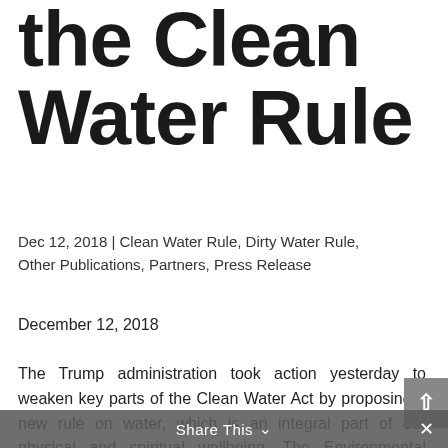the Clean Water Rule
Dec 12, 2018 | Clean Water Rule, Dirty Water Rule, Other Publications, Partners, Press Release
December 12, 2018
The Trump administration took action yesterday to weaken key parts of the Clean Water Act by proposing a new rule on water, which is an integral part of our physical and spiritual wellbeing. The Environmental Protection Agency and Army Corps of Engineers agencies jointly proposed exempting polluters from important programs that prevent and clean up water pollution, by removing protections from certain